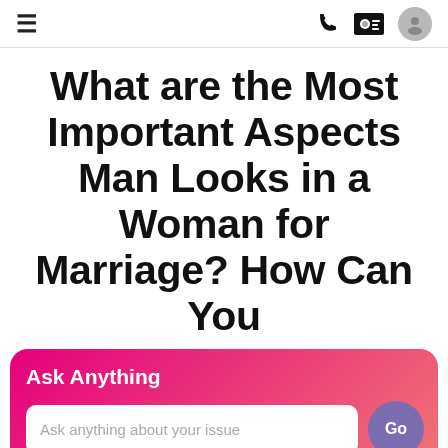≡  [phone icon] [contact icon] [avatar icon]
What are the Most Important Aspects Man Looks in a Woman for Marriage? How Can You
Ask Anything
Ask anything about your issue